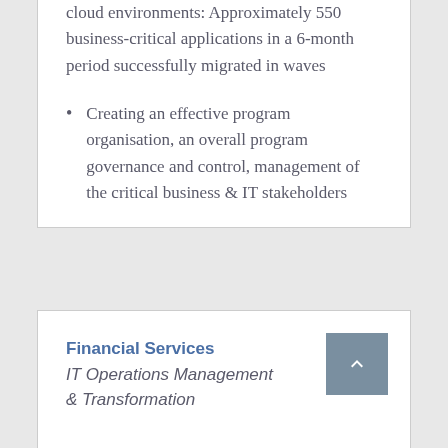cloud environments: Approximately 550 business-critical applications in a 6-month period successfully migrated in waves
Creating an effective program organisation, an overall program governance and control, management of the critical business & IT stakeholders
Financial Services
IT Operations Management & Transformation